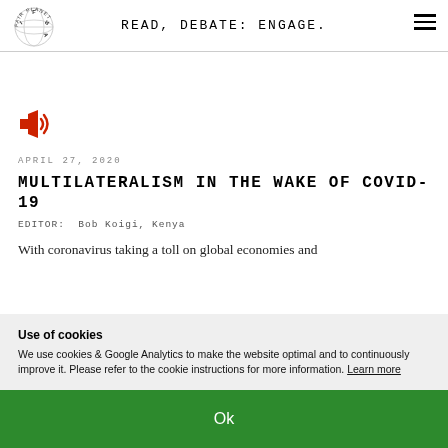READ, DEBATE: ENGAGE.
[Figure (logo): Fair Planet logo — circular text with globe design]
[Figure (other): Speaker/audio icon in red]
APRIL 27, 2020
MULTILATERALISM IN THE WAKE OF COVID-19
EDITOR:  Bob Koigi, Kenya
With coronavirus taking a toll on global economies and
Use of cookies
We use cookies & Google Analytics to make the website optimal and to continuously improve it. Please refer to the cookie instructions for more information. Learn more
Ok